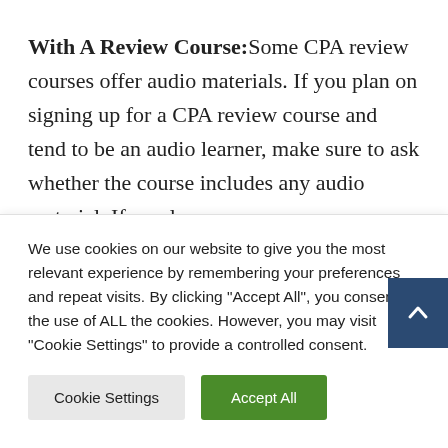With A Review Course: Some CPA review courses offer audio materials. If you plan on signing up for a CPA review course and tend to be an audio learner, make sure to ask whether the course includes any audio material. If you love
We use cookies on our website to give you the most relevant experience by remembering your preferences and repeat visits. By clicking "Accept All", you consent to the use of ALL the cookies. However, you may visit "Cookie Settings" to provide a controlled consent.